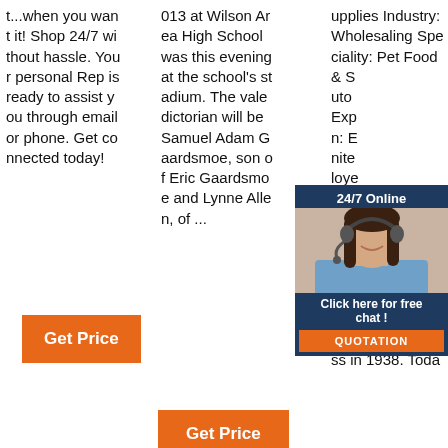t...when you want it! Shop 24/7 without hassle. Your personal Rep is ready to assist you through email or phone. Get connected today!
013 at Wilson Area High School was this evening at the school's stadium. The valedictorian will be Samuel Adam Gaardsmoe, son of Eric Gaardsmoe and Lynne Allen, of ...
upplies Industry: Wholesaling Speciality: Pet Food & S... Distributor... Exp... n: E... nite... loye... 00 l... 800... crip... Pet Food & Supplies began as a family owned and operated business in 1938. Toda
[Figure (other): Chat widget with woman wearing headset, '24/7 Online' header, 'Click here for free chat!' text, and orange QUOTATION button]
Get Price
Get Price